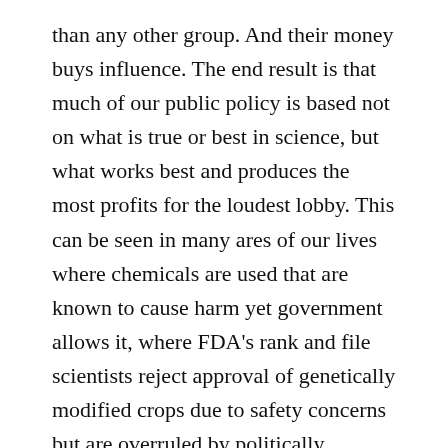than any other group. And their money buys influence. The end result is that much of our public policy is based not on what is true or best in science, but what works best and produces the most profits for the loudest lobby. This can be seen in many ares of our lives where chemicals are used that are known to cause harm yet government allows it, where FDA's rank and file scientists reject approval of genetically modified crops due to safety concerns but are overruled by politically appointed superiors, where drugs that are known to be dangerous by the manufacturer and FDA are allowed to remain on the market for years, and countless other examples.
The point is that no medical issue including vaccines is